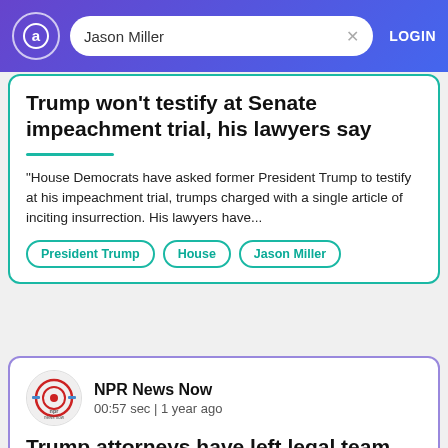Jason Miller — LOGIN
Trump won't testify at Senate impeachment trial, his lawyers say
"House Democrats have asked former President Trump to testify at his impeachment trial, trumps charged with a single article of inciting insurrection. His lawyers have...
President Trump
House
Jason Miller
NPR News Now
00:57 sec | 1 year ago
Trump attorneys have left legal team ahead of impeachment trial